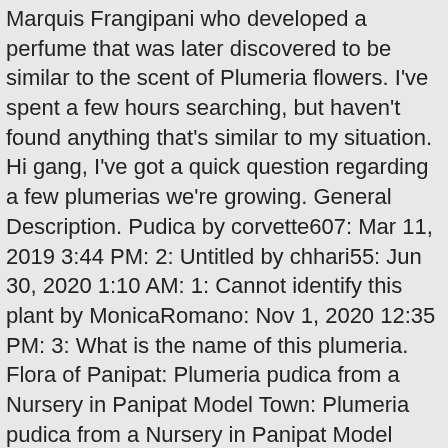Marquis Frangipani who developed a perfume that was later discovered to be similar to the scent of Plumeria flowers. I've spent a few hours searching, but haven't found anything that's similar to my situation. Hi gang, I've got a quick question regarding a few plumerias we're growing. General Description. Pudica by corvette607: Mar 11, 2019 3:44 PM: 2: Untitled by chhari55: Jun 30, 2020 1:10 AM: 1: Cannot identify this plant by MonicaRomano: Nov 1, 2020 12:35 PM: 3: What is the name of this plumeria. Flora of Panipat: Plumeria pudica from a Nursery in Panipat Model Town: Plumeria pudica from a Nursery in Panipat Model Town About 4-5 feet high Garden shrub with white flowers and showy leaves Plumeria pudica . Plumeria (common name Frangipani) is a small genus of 7-8 species native to tropical and subtropical Americas. Looking for White Frangipani, also known as Fiddle Leaf Plumeria or Wild Plumeria, for your garden landscape? Uses, Benefits, Cures, Side Effects, Nutrients in Plumeria Rubra. PLUMERIA pudica. Videos; Fact Sheets ... Plumeria pudica : Common Names: White … Plumeria pudica, Jacq. Plumeria pudica is a very fast growing evergreen